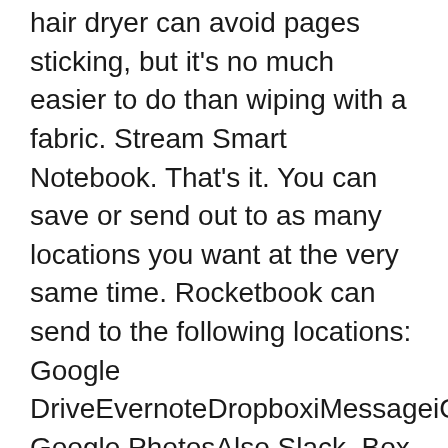hair dryer can avoid pages sticking, but it's no much easier to do than wiping with a fabric. Stream Smart Notebook. That's it. You can save or send out to as many locations you want at the very same time. Rocketbook can send to the following locations: Google DriveEvernoteDropboxiMessageiCloudemail Google PhotosAlso Slack, Box, OneNote, OneDrive, and TrelloElfinbook supports most of these except Google Photos. The issue I have with it is when sending notes to numerous locations. Then, you require to choose the note (s ), pick where to send out, and press Ok.
Sending out notes by email plus Google Drive, for instance, needs two separate actions.